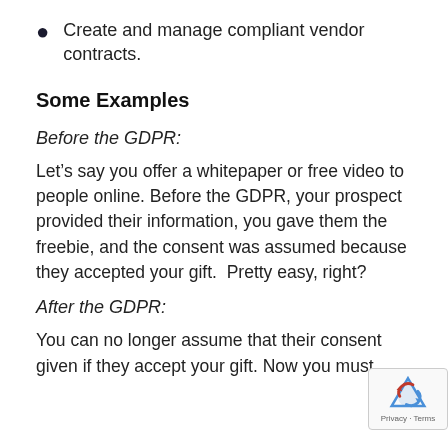Create and manage compliant vendor contracts.
Some Examples
Before the GDPR:
Let’s say you offer a whitepaper or free video to people online. Before the GDPR, your prospect provided their information, you gave them the freebie, and the consent was assumed because they accepted your gift.  Pretty easy, right?
After the GDPR:
You can no longer assume that their consent given if they accept your gift. Now you must